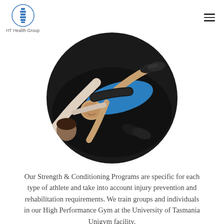HT Health Group
[Figure (photo): Overhead view of a personal trainer assisting an athlete lying on a bench press in a gym, using dumbbells on a dark rubber floor.]
Our Strength & Conditioning Programs are specific for each type of athlete and take into account injury prevention and rehabilitation requirements. We train groups and individuals in our High Performance Gym at the University of Tasmania Unigym facility.